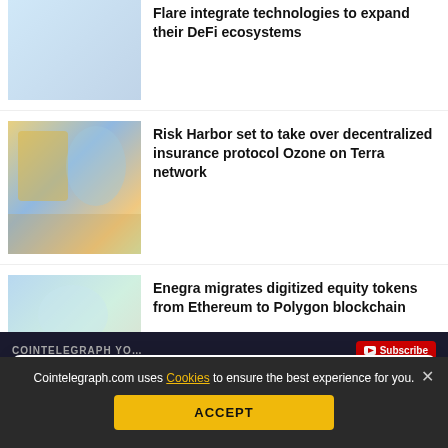Flare integrate technologies to expand their DeFi ecosystems
[Figure (illustration): Decorative illustration placeholder, light blue tones]
Risk Harbor set to take over decentralized insurance protocol Ozone on Terra network
[Figure (illustration): Colorful fantasy character illustration]
Enegra migrates digitized equity tokens from Ethereum to Polygon blockchain
[Figure (illustration): Fantasy/NFT style illustration with light colors]
decentralized carbon credit...
Cointelegraph.com uses Cookies to ensure the best experience for you.
ACCEPT
COINTELEGRAPH YO... Subscribe